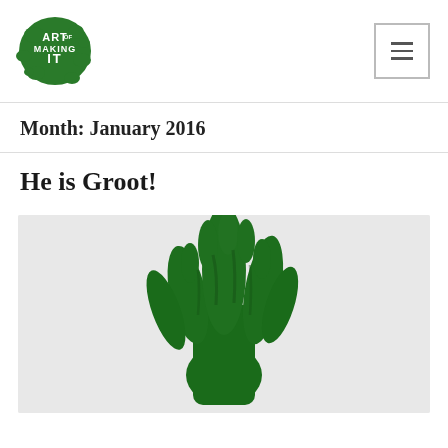[Figure (logo): Art of Making It logo — green ink splat with white text reading ART OF MAKING IT]
Month: January 2016
He is Groot!
[Figure (photo): A green sculptural hand or tree-like form resembling Groot from Guardians of the Galaxy, photographed against a light grey background]